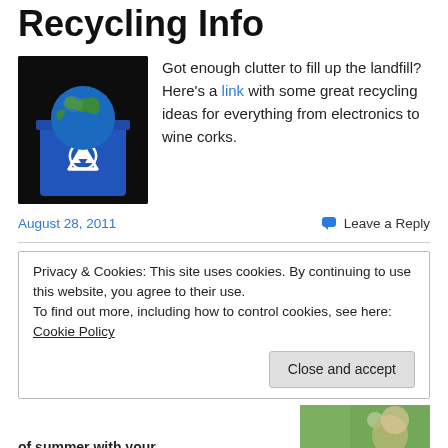Recycling Info
[Figure (photo): Blue recycling bin with the Earth globe sitting in it, against a dark background, with recycling symbol on the bin.]
Got enough clutter to fill up the landfill? Here's a link with some great recycling ideas for everything from electronics to wine corks.
August 28, 2011
Leave a Reply
Privacy & Cookies: This site uses cookies. By continuing to use this website, you agree to their use.
To find out more, including how to control cookies, see here: Cookie Policy
Close and accept
of summer with your...
[Figure (photo): Partial image of a person outdoors, appears to show a woman with nature background.]